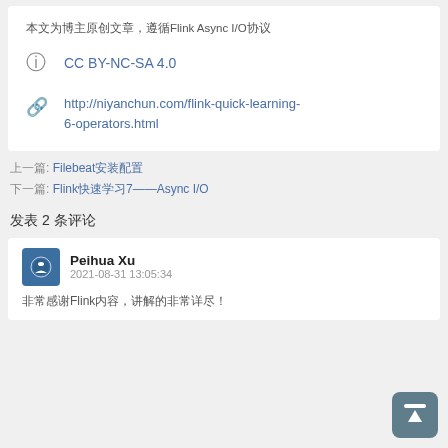本文为博主原创文章，遵循Flink Async I/O协议
CC BY-NC-SA 4.0
http://niyanchun.com/flink-quick-learning-6-operators.html
上一篇: Filebeat安装配置
下一篇: Flink快速学习7——Async I/O
发表 2 条评论
Peihua Xu
2021-08-31 13:05:34
非常感谢Flink内容，讲解的非常详尽！